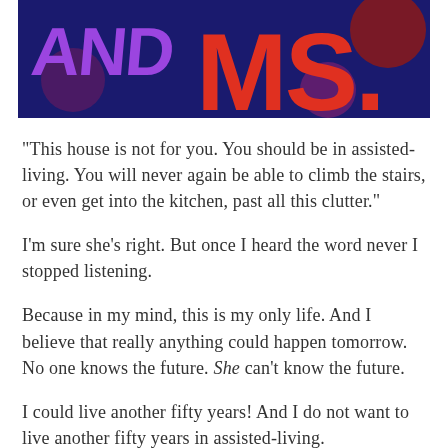[Figure (illustration): Partial banner image showing large bold text 'AND MS.' in orange/red on a dark blue background with decorative circular shapes in red and purple tones. The letters are partially cut off at top.]
“This house is not for you. You should be in assisted-living. You will never again be able to climb the stairs, or even get into the kitchen, past all this clutter.”
I’m sure she’s right. But once I heard the word never I stopped listening.
Because in my mind, this is my only life. And I believe that really anything could happen tomorrow. No one knows the future. She can’t know the future.
I could live another fifty years! And I do not want to live another fifty years in assisted-living.